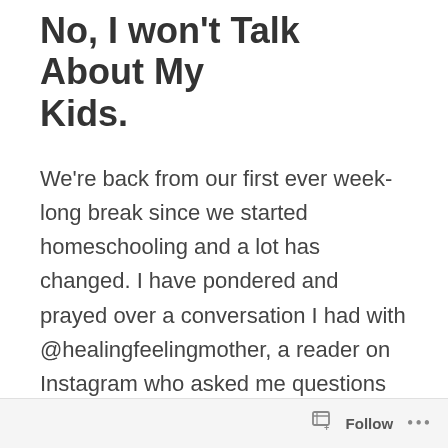No, I won't Talk About My Kids.
We're back from our first ever week-long break since we started homeschooling and a lot has changed. I have pondered and prayed over a conversation I had with @healingfeelingmother, a reader on Instagram who asked me questions about why I mention specifics about my kids on a public facing platform. My initial response was that the blog is anonymous specifically to protect my children's identities. But, that conversation set something off in my mind
Follow ...